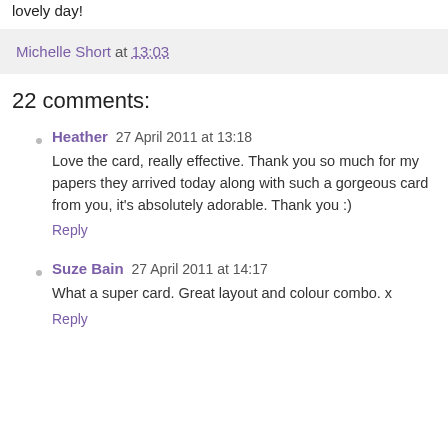giveaways – all your packages have been sent. Have a lovely day!
Michelle Short at 13:03
22 comments:
Heather  27 April 2011 at 13:18
Love the card, really effective. Thank you so much for my papers they arrived today along with such a gorgeous card from you, it's absolutely adorable. Thank you :)
Reply
Suze Bain  27 April 2011 at 14:17
What a super card. Great layout and colour combo. x
Reply